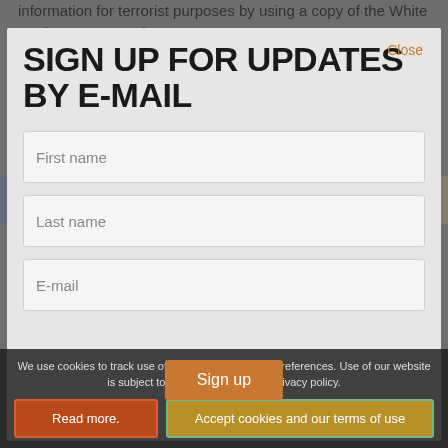information for terrorist purposes by using a copy of the White Resistance Manual.
Last week at the Old Bailey, Judge Anthony Leonard QC sentenced Mr Morgan to an indeterminate hospital order and a ten-year terrorist notification order.
SIGN UP FOR UPDATES BY E-MAIL
First name
Last name
E-mail
Sign up
We use cookies to track use of our website and your preferences. Use of our website is subject to our terms of use and privacy policy.
Read more.
Accept cookies and our terms of use
Close